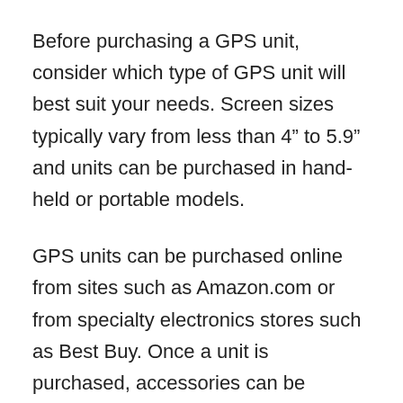Before purchasing a GPS unit, consider which type of GPS unit will best suit your needs. Screen sizes typically vary from less than 4” to 5.9” and units can be purchased in hand-held or portable models.
GPS units can be purchased online from sites such as Amazon.com or from specialty electronics stores such as Best Buy. Once a unit is purchased, accessories can be added, including carrying cases. With the proper equipment, the GPS unit can be mounted to a vehicle’s dashboard, windshield or air vents.